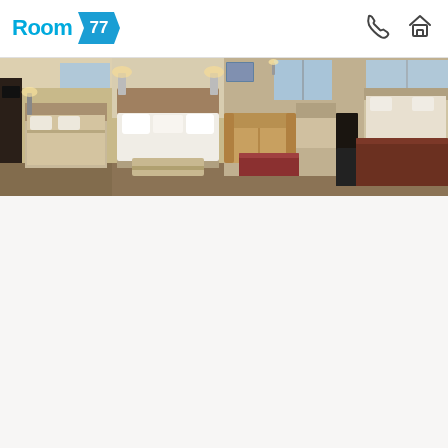[Figure (logo): Room 77 logo with blue text and blue diamond/arrow badge shape]
[Figure (photo): Four hotel room photos in a horizontal strip: king bedroom with TV, king bed with white linens, suite with sofa and coffee table, another suite angle with coffee table and bed]